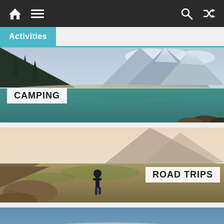Navigation bar with home, menu, search, and shuffle icons
Activities
[Figure (photo): Scenic mountain lake with turquoise water, surrounded by pine trees and snow-capped peaks, with CAMPING label overlay]
[Figure (photo): Person standing on rocky outcrop overlooking a vast valley landscape at golden hour, with ROAD TRIPS label overlay]
[Figure (photo): Misty lake with islands and a silhouette of a person sitting on a rock, with HIKING label overlay]